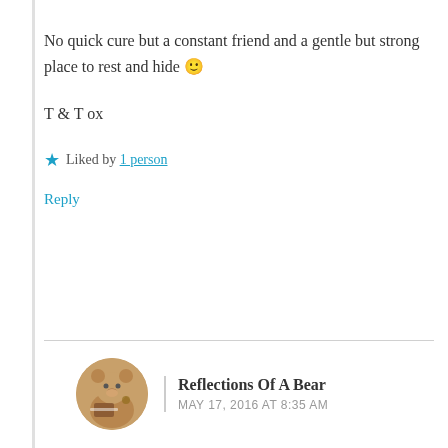No quick cure but a constant friend and a gentle but strong place to rest and hide 🙂
T & T ox
★ Liked by 1 person
Reply
Reflections Of A Bear
MAY 17, 2016 AT 8:35 AM
Thank you for your prayers, and for the beautiful Psalm ❤ A constant friend and a safe place to rest and hide is invaluable, particularly in this broken world…